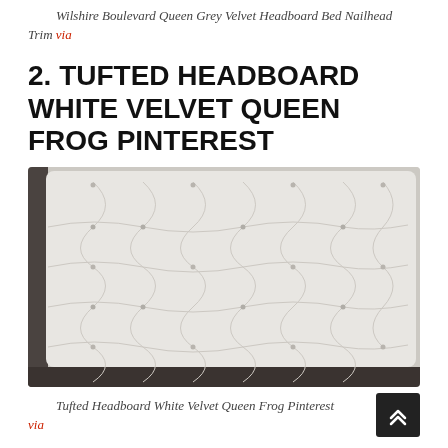Wilshire Boulevard Queen Grey Velvet Headboard Bed Nailhead Trim via
2. TUFTED HEADBOARD WHITE VELVET QUEEN FROG PINTEREST
[Figure (photo): A white tufted velvet headboard with diamond pattern button tufting across the full surface, photographed against a neutral background.]
Tufted Headboard White Velvet Queen Frog Pinterest via